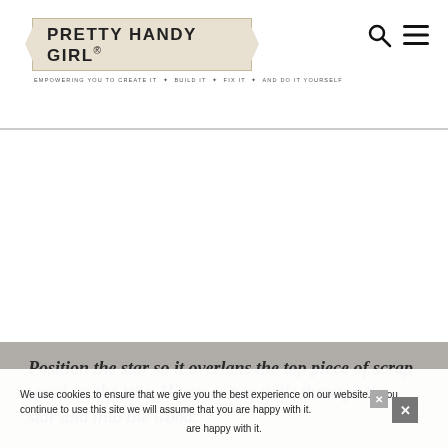PRETTY HANDY GIRL® — EMPOWERING YOU TO CREATE IT • BUILD IT • FIX IT • AND DO IT YOURSELF
Position the star so it overlans the top piece of scrap wood on the tree. Hammer two nails through the star and into the wood.
We use cookies to ensure that we give you the best experience on our website. If you continue to use this site we will assume that you are happy with it.